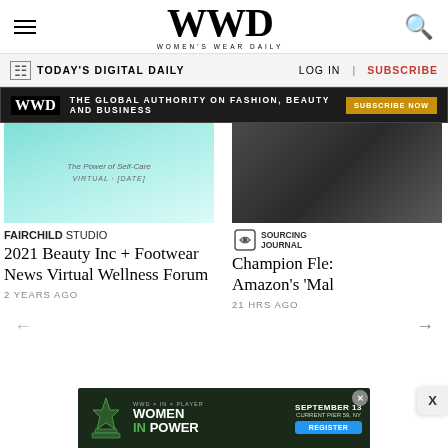WWD Women's Wear Daily
TODAY'S DIGITAL DAILY | LOG IN | SUBSCRIBE
WWD — THE GLOBAL AUTHORITY ON FASHION, BEAUTY AND BUSINESS — SUBSCRIBE NOW
[Figure (photo): Teal/turquoise abstract background with text 'The Power of Self-Care Virtual ...']
FAIRCHILD STUDIO
2021 Beauty Inc + Footwear News Virtual Wellness Forum
2 YEARS AGO
[Figure (photo): Dark interior background image partially visible on right side]
SOURCING JOURNAL
Champion Fle: Amazon's 'Mal
21 HRS AGO
[Figure (infographic): Bottom advertisement: Women in Power event, September 13, Current Pier 59 NY, Register button]